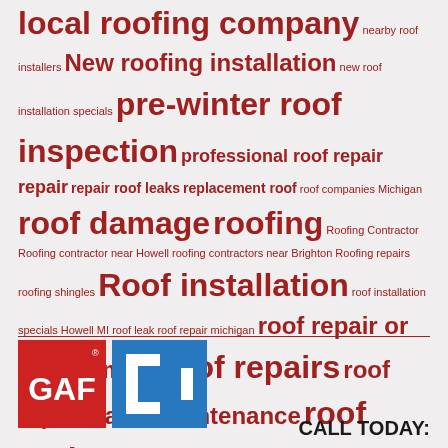[Figure (infographic): Tag cloud of roofing-related keywords in various font sizes, all in dark red color on light gray background]
[Figure (logo): GAF logo (red square with white text GAF) and a blue square bracket logo]
CALL TODAY: